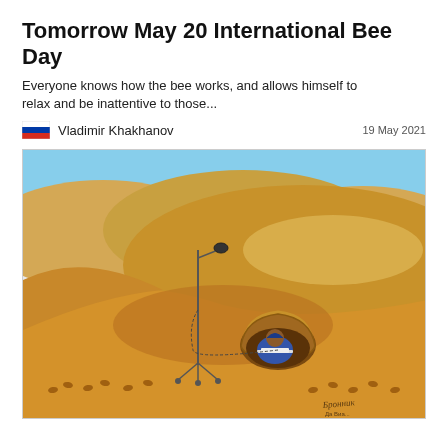Tomorrow May 20 International Bee Day
Everyone knows how the bee works, and allows himself to relax and be inattentive to those...
Vladimir Khakhanov   19 May 2021
[Figure (illustration): A cartoon illustration of a desert landscape with golden sand dunes and a light blue sky. In the foreground, a figure in a blue outfit sits inside a small burrow or cave carved into a sand dune, working at a desk with papers. A microphone stand with a vintage microphone is planted in the sand nearby. Footprints are visible in the sand. The illustration is signed by the artist in the lower right corner.]